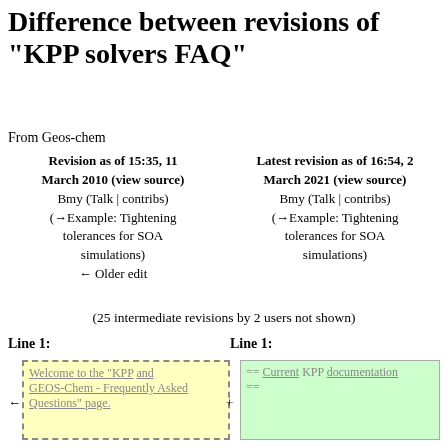Difference between revisions of "KPP solvers FAQ"
From Geos-chem
Revision as of 15:35, 11 March 2010 (view source)
Bmy (Talk | contribs)
(→Example: Tightening tolerances for SOA simulations)
← Older edit
Latest revision as of 16:54, 2 March 2021 (view source)
Bmy (Talk | contribs)
(→Example: Tightening tolerances for SOA simulations)
(25 intermediate revisions by 2 users not shown)
Line 1:
Line 1:
Welcome to the "KPP and GEOS-Chem - Frequently Asked Questions" page.
== Current KPP documentation ==